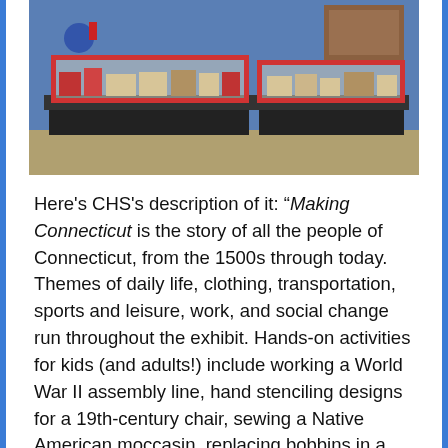[Figure (photo): Museum exhibit photo showing display cases with red frames on a blue background, containing books and artifacts arranged on black tables in an L-shape configuration]
Here's CHS's description of it: “Making Connecticut is the story of all the people of Connecticut, from the 1500s through today. Themes of daily life, clothing, transportation, sports and leisure, work, and social change run throughout the exhibit. Hands-on activities for kids (and adults!) include working a World War II assembly line, hand stenciling designs for a 19th-century chair, sewing a Native American moccasin, replacing bobbins in a textile mill, and cooking a meal and setting the table in both a colonial and a 1980s